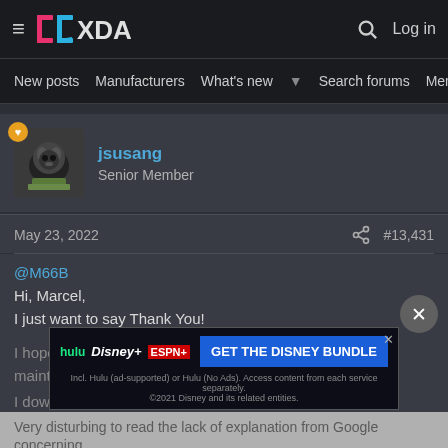XDA (logo) | New posts | Manufacturers | What's new | Search forums | Members | Log in
jsusang
Senior Member
May 23, 2022  #13,431
@M66B
Hi, Marcel,
I just want to say Thank You!
I hope in due time, you will return to developing and maintaining your applications.
I downlo...
[Figure (screenshot): Disney Bundle advertisement banner with Hulu, Disney+, ESPN+ logos and 'GET THE DISNEY BUNDLE' CTA button]
Very disturbing to read the lack of explanation from Google concerning...